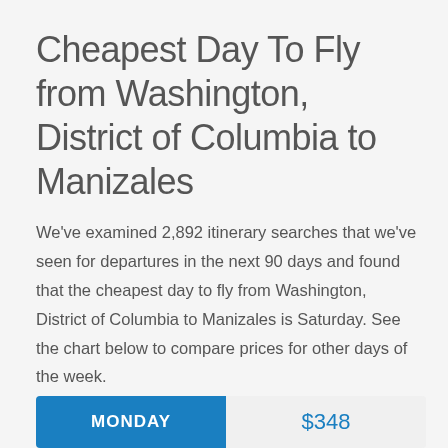Cheapest Day To Fly from Washington, District of Columbia to Manizales
We've examined 2,892 itinerary searches that we've seen for departures in the next 90 days and found that the cheapest day to fly from Washington, District of Columbia to Manizales is Saturday. See the chart below to compare prices for other days of the week.
| Day | Price |
| --- | --- |
| MONDAY | $348 |